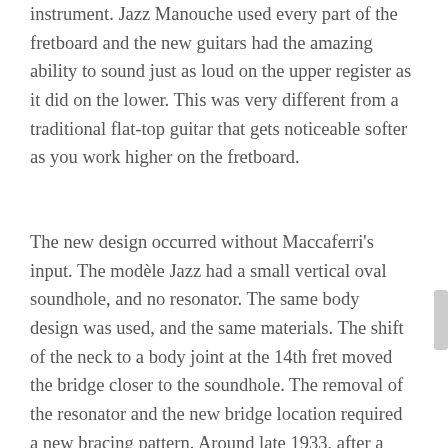instrument. Jazz Manouche used every part of the fretboard and the new guitars had the amazing ability to sound just as loud on the upper register as it did on the lower. This was very different from a traditional flat-top guitar that gets noticeable softer as you work higher on the fretboard.
The new design occurred without Maccaferri's input. The modèle Jazz had a small vertical oval soundhole, and no resonator. The same body design was used, and the same materials. The shift of the neck to a body joint at the 14th fret moved the bridge closer to the soundhole. The removal of the resonator and the new bridge location required a new bracing pattern. Around late 1933, after a handful of transitional models, it was offered with the longer 670mm (26.4″) scale. Following Maccaferri's departure, his name and patent numbers for his resonator were eliminated from the headstock engraving and his credit was